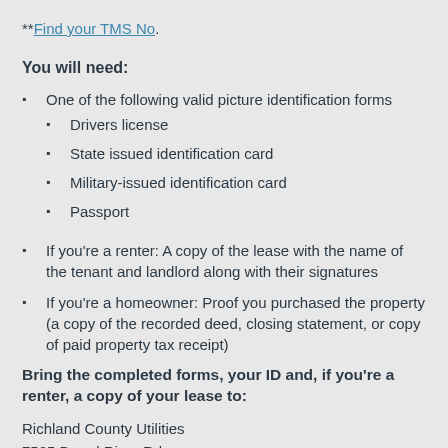**Find your TMS No.
You will need:
One of the following valid picture identification forms
Drivers license
State issued identification card
Military-issued identification card
Passport
If you're a renter: A copy of the lease with the name of the tenant and landlord along with their signatures
If you're a homeowner: Proof you purchased the property (a copy of the recorded deed, closing statement, or copy of paid property tax receipt)
Bring the completed forms, your ID and, if you're a renter, a copy of your lease to:
Richland County Utilities
7525 Broad River Rd.